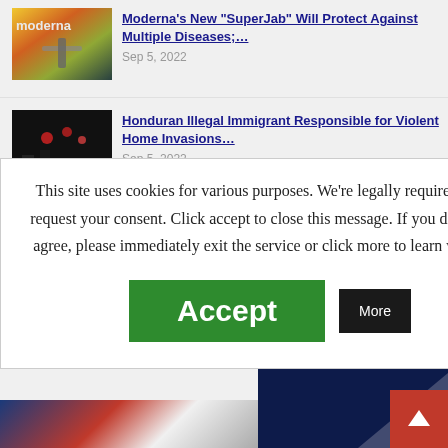[Figure (photo): Thumbnail of Moderna syringe/vaccine image with colorful background]
Moderna's New “SuperJab” Will Protect Against Multiple Diseases;…
Sep 5, 2022
[Figure (photo): Thumbnail of nighttime scene with red lights and law enforcement]
Honduran Illegal Immigrant Responsible for Violent Home Invasions…
Sep 5, 2022
This site uses cookies for various purposes. We’re legally required to request your consent. Click accept to close this message. If you do not agree, please immediately exit the service or click more to learn why.
Accept
More